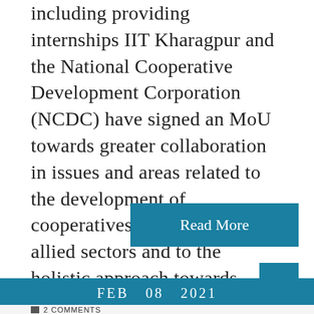including providing internships IIT Kharagpur and the National Cooperative Development Corporation (NCDC) have signed an MoU towards greater collaboration in issues and areas related to the development of cooperatives, agriculture and allied sectors and to the holistic approach towards sustainable development. The scope...
Read More
FEB  08  2021
2 COMMENTS